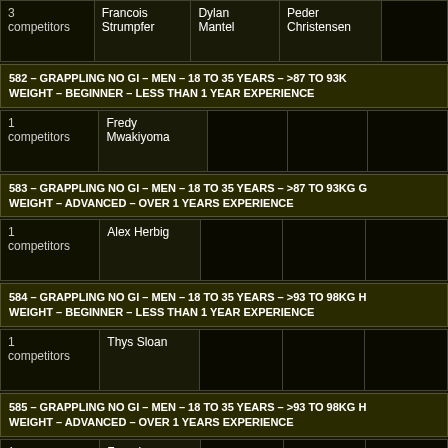|  | Name1 | Name2 | Name3 |  |
| --- | --- | --- | --- | --- |
| 3 competitors | Francois Strumpfer | Dylan Mantel | Peder Christensen |  |
582 – GRAPPLING NO GI – MEN – 18 TO 35 YEARS – >87 TO 93KG WEIGHT – BEGINNER – LESS THAN 1 YEAR EXPERIENCE
|  | Name1 | Name2 | Name3 |  |
| --- | --- | --- | --- | --- |
| 1 competitors | Fredy Mwakiyoma |  |  |  |
583 – GRAPPLING NO GI – MEN – 18 TO 35 YEARS – >87 TO 93KG WEIGHT – ADVANCED – OVER 1 YEARS EXPERIENCE
|  | Name1 | Name2 | Name3 |  |
| --- | --- | --- | --- | --- |
| 1 competitors | Alex Herbig |  |  |  |
584 – GRAPPLING NO GI – MEN – 18 TO 35 YEARS – >93 TO 98KG WEIGHT – BEGINNER – LESS THAN 1 YEAR EXPERIENCE
|  | Name1 | Name2 | Name3 |  |
| --- | --- | --- | --- | --- |
| 1 competitors | Thys Sloan |  |  |  |
585 – GRAPPLING NO GI – MEN – 18 TO 35 YEARS – >93 TO 98KG WEIGHT – ADVANCED – OVER 1 YEARS EXPERIENCE
|  | Name1 | Name2 | Name3 |  |
| --- | --- | --- | --- | --- |
| 1 competitors | Farouk Davids |  |  |  |